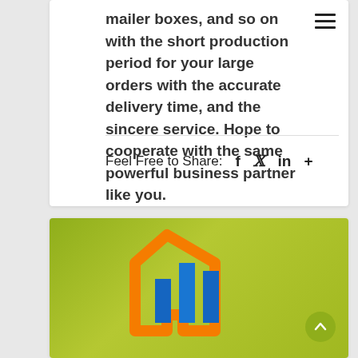mailer boxes, and so on with the short production period for your large orders with the accurate delivery time, and the sincere service. Hope to cooperate with the same powerful business partner like you.
Feel Free to Share:  f  in  +
[Figure (logo): Company logo with orange hexagon outline and blue building/bar chart shapes on a green gradient background]